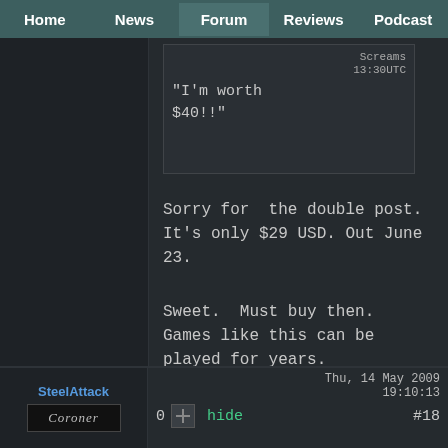Home | News | Forum | Reviews | Podcast
Screams
13:30UTC
"I'm worth
$40!!"
Sorry for the double post. It's only $29 USD. Out June 23.
Sweet. Must buy then. Games like this can be played for years.
SteelAttack
Coroner
Thu, 14 May 2009 19:10:13
0 hide #18